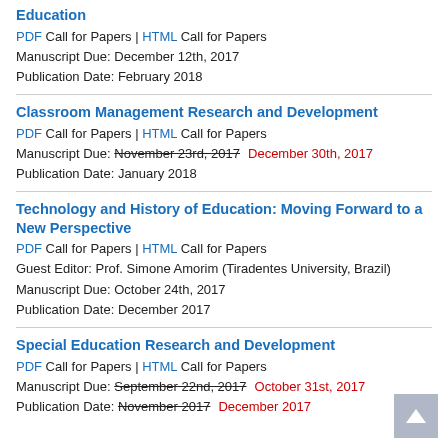Education
PDF Call for Papers | HTML Call for Papers
Manuscript Due: December 12th, 2017
Publication Date: February 2018
Classroom Management Research and Development
PDF Call for Papers | HTML Call for Papers
Manuscript Due: November 23rd, 2017  December 30th, 2017
Publication Date: January 2018
Technology and History of Education: Moving Forward to a New Perspective
PDF Call for Papers | HTML Call for Papers
Guest Editor: Prof. Simone Amorim (Tiradentes University, Brazil)
Manuscript Due: October 24th, 2017
Publication Date: December 2017
Special Education Research and Development
PDF Call for Papers | HTML Call for Papers
Manuscript Due: September 22nd, 2017  October 31st, 2017
Publication Date: November 2017  December 2017